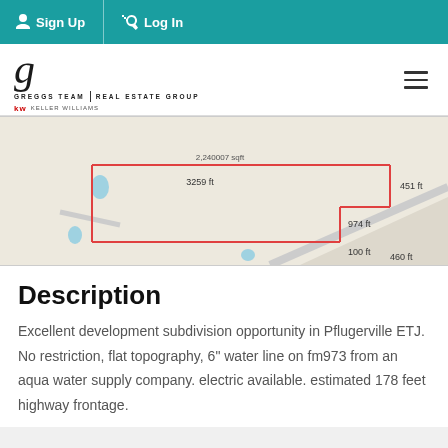Sign Up  Log In
[Figure (logo): Greggs Team Real Estate Group logo with script G and kw branding]
[Figure (map): Property boundary map showing parcel dimensions: 3259 ft, 451 ft, 974 ft, 100 ft, 460 ft with red boundary lines on aerial/street map]
Description
Excellent development subdivision opportunity in Pflugerville ETJ. No restriction, flat topography, 6" water line on fm973 from an aqua water supply company. electric available. estimated 178 feet highway frontage.